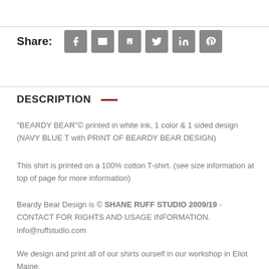Share:
[Figure (infographic): Row of 6 social sharing icon buttons: Facebook, Email, Print, Twitter, LinkedIn, Pinterest]
DESCRIPTION
"BEARDY BEAR"© printed in white ink, 1 color & 1 sided design (NAVY BLUE T with PRINT OF BEARDY BEAR DESIGN)
This shirt is printed on a 100% cotton T-shirt. (see size information at top of page for more information)
Beardy Bear Design is © SHANE RUFF STUDIO 2009/19 - CONTACT FOR RIGHTS AND USAGE INFORMATION. info@ruffstudio.com
We design and print all of our shirts ourself in our workshop in Eliot Maine,